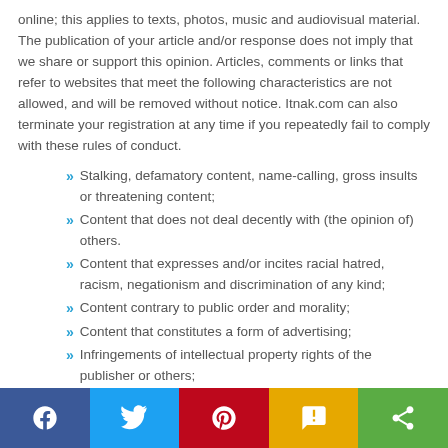online; this applies to texts, photos, music and audiovisual material. The publication of your article and/or response does not imply that we share or support this opinion. Articles, comments or links that refer to websites that meet the following characteristics are not allowed, and will be removed without notice. Itnak.com can also terminate your registration at any time if you repeatedly fail to comply with these rules of conduct.
Stalking, defamatory content, name-calling, gross insults or threatening content;
Content that does not deal decently with (the opinion of) others.
Content that expresses and/or incites racial hatred, racism, negationism and discrimination of any kind;
Content contrary to public order and morality;
Content that constitutes a form of advertising;
Infringements of intellectual property rights of the publisher or others;